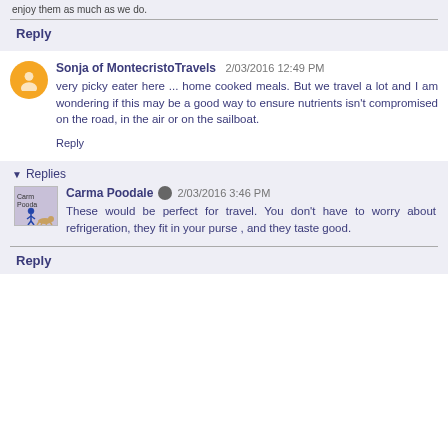enjoy them as much as we do.
Reply
Sonja of MontecristoTravels  2/03/2016 12:49 PM
very picky eater here ... home cooked meals. But we travel a lot and I am wondering if this may be a good way to ensure nutrients isn't compromised on the road, in the air or on the sailboat.
Reply
Replies
Carma Poodale  2/03/2016 3:46 PM
These would be perfect for travel. You don't have to worry about refrigeration, they fit in your purse , and they taste good.
Reply